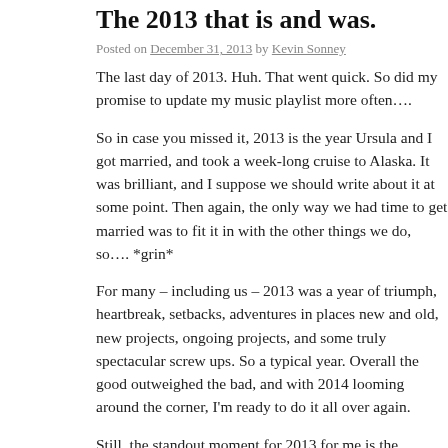The 2013 that is and was.
Posted on December 31, 2013 by Kevin Sonney
The last day of 2013. Huh. That went quick. So did my promise to update my music playlist more often….
So in case you missed it, 2013 is the year Ursula and I got married, and took a week-long cruise to Alaska. It was brilliant, and I suppose we should write about it at some point. Then again, the only way we had time to get married was to fit it in with the other things we do, so…. *grin*
For many – including us – 2013 was a year of triumph, heartbreak, setbacks, adventures in places new and old, new projects, ongoing projects, and some truly spectacular screw ups. So a typical year. Overall the good outweighed the bad, and with 2014 looming around the corner, I'm ready to do it all over again.
Still, the standout moment for 2013 for me is the Wedding + Alaska trip. It was awesome. And there is more to come…
Y'all be safe out there, and I'll see you in 2014!